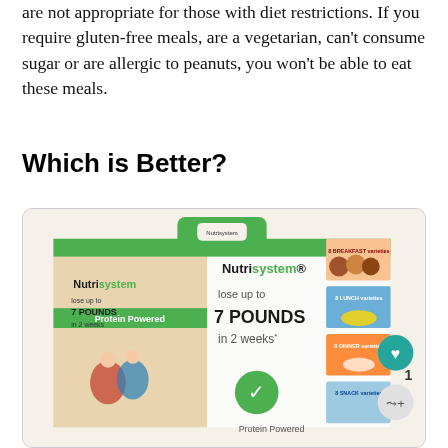are not appropriate for those with diet restrictions. If you require gluten-free meals, are a vegetarian, can't consume sugar or are allergic to peanuts, you won't be able to eat these meals.
Which is Better?
[Figure (photo): Photo of a Nutrisystem meal kit box. The box features the Nutrisystem logo and text reading 'lose up to 7 POUNDS in 2 weeks'. The box shows images of various meals including breakfast, lunch, dinner, and snack varieties. A green handle is visible at the top. A teal heart icon and share icon are visible on the right side with the number 1.]